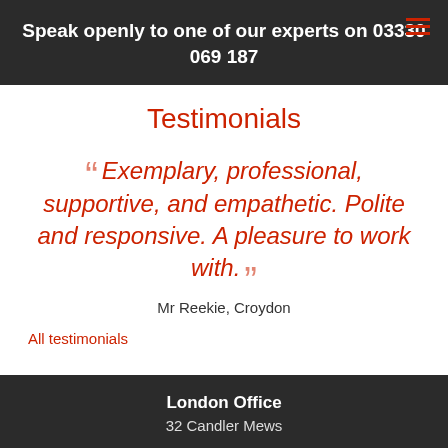Speak openly to one of our experts on 03330 069 187
Testimonials
“ Exemplary, professional, supportive, and empathetic. Polite and responsive. A pleasure to work with. ”
Mr Reekie, Croydon
All testimonials
London Office
32 Candler Mews